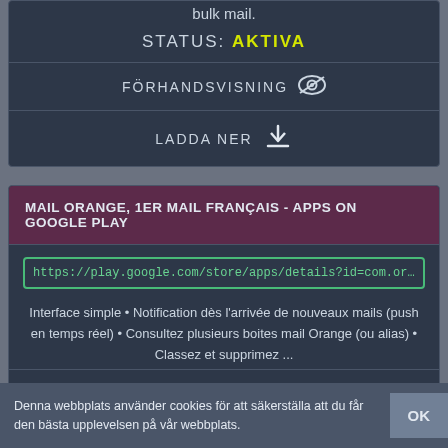bulk mail.
STATUS: AKTIVA
FÖRHANDSVISNING
LADDA NER
MAIL ORANGE, 1ER MAIL FRANÇAIS - APPS ON GOOGLE PLAY
https://play.google.com/store/apps/details?id=com.orange.mail.fr&hl=en
Interface simple • Notification dès l'arrivée de nouveaux mails (push en temps réel) • Consultez plusieurs boites mail Orange (ou alias) • Classez et supprimez ...
STATUS: AKTIVA
Denna webbplats använder cookies för att säkerställa att du får den bästa upplevelsen på vår webbplats.